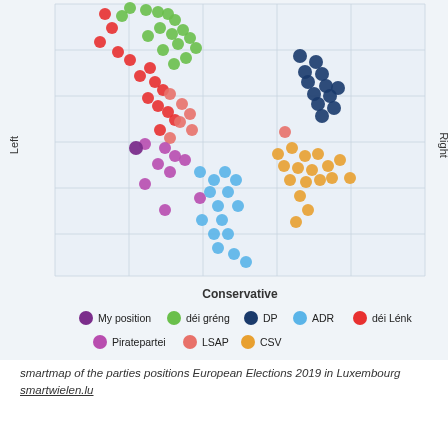[Figure (continuous-plot): Smartmap scatter plot showing party positions in Luxembourg European Elections 2019. X-axis: Liberal (left) to Conservative (right). Y-axis: Left (bottom-left label) to Right (right side label). Colored dots represent candidates from parties: My position (purple), déi gréng (green), DP (dark blue), ADR (light blue), déi Lénk (red), Piratepartei (pink/purple), LSAP (salmon/pink), CSV (orange/gold). Legend shown below chart.]
smartmap of the parties positions European Elections 2019 in Luxembourg smartwielen.lu